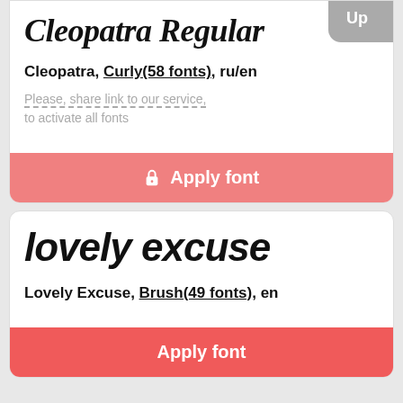Cleopatra Regular
Cleopatra, Curly(58 fonts), ru/en
Please, share link to our service, to activate all fonts
Apply font
lovely excuse
Lovely Excuse, Brush(49 fonts), en
Apply font